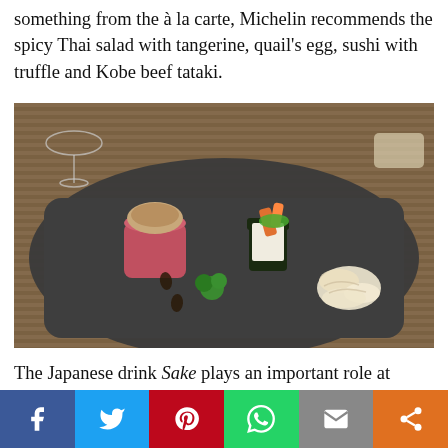something from the à la carte, Michelin recommends the spicy Thai salad with tangerine, quail's egg, sushi with truffle and Kobe beef tataki.
[Figure (photo): A dark slate plate with Japanese/fusion appetizers: a small soufflé in a pink ramekin, a sushi piece with orange carrot/salmon topping wrapped in nori, pickled ginger on the side, and a drizzle of sauce, on a bamboo placemat background.]
The Japanese drink Sake plays an important role at MEE. Not only is it served in plenty of different variants; an actual Sake hostess stands ready to help you pick your favorite. Have a taste even if you're not a fan of the drink